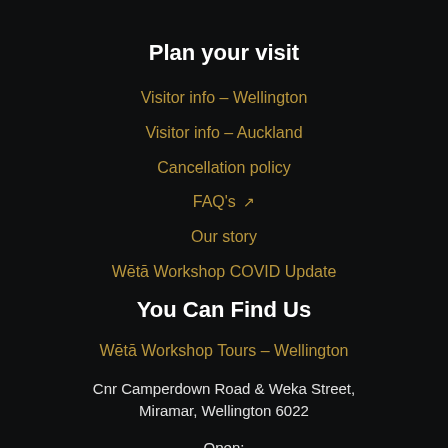Plan your visit
Visitor info – Wellington
Visitor info – Auckland
Cancellation policy
FAQ's ↗
Our story
Wētā Workshop COVID Update
You Can Find Us
Wētā Workshop Tours – Wellington
Cnr Camperdown Road & Weka Street, Miramar, Wellington 6022
Open: